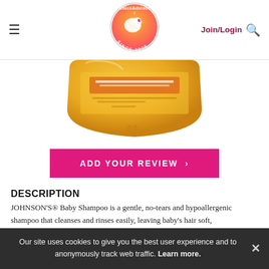ChickAdvisor — Join/Login
[Figure (photo): Bottom portion of a Johnson's Baby Shampoo bottle, golden/yellow color]
ADD YOUR REVIEW ›
DESCRIPTION
JOHNSON'S® Baby Shampoo is a gentle, no-tears and hypoallergenic shampoo that cleanses and rinses easily, leaving baby's hair soft,
Our site uses cookies to give you the best user experience and to anonymously track web traffic. Learn more. ✕